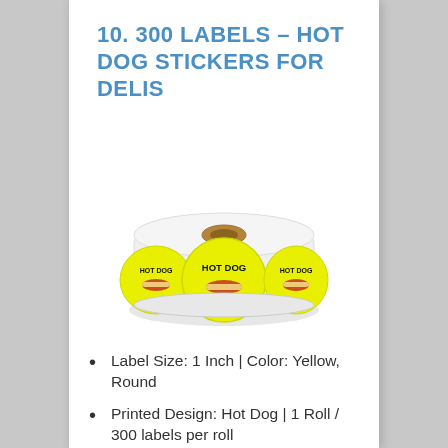10. 300 LABELS – HOT DOG STICKERS FOR DELIS
[Figure (photo): A roll of round yellow HOT DOG stickers/labels showing multiple yellow circular labels with 'HOT DOG' text and a hot dog illustration printed on them]
Label Size: 1 Inch | Color: Yellow, Round
Printed Design: Hot Dog | 1 Roll / 300 labels per roll
High quality easy peel